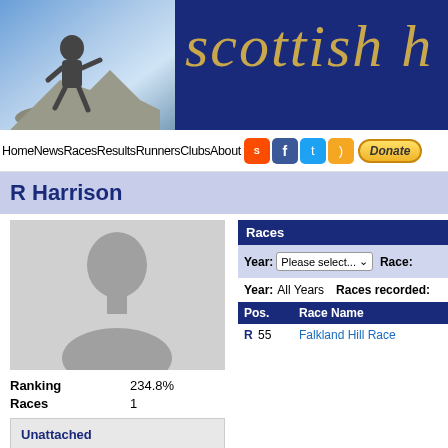scottish h
Home News Races Results Runners Clubs About Donate
R Harrison
[Figure (photo): Silhouette placeholder profile photo of a person]
Ranking 234.8%
Races 1
Unattached
8840 Runners
| Pos. | Race Name |
| --- | --- |
| R 55 | Falkland Hill Race |
Year: All Years  Races recorded: